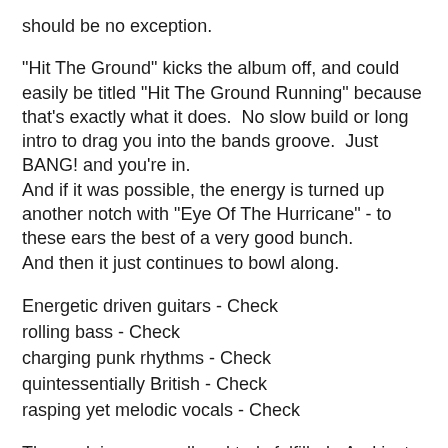should be no exception.
"Hit The Ground" kicks the album off, and could easily be titled "Hit The Ground Running" because that's exactly what it does.  No slow build or long intro to drag you into the bands groove.  Just BANG! and you're in.
And if it was possible, the energy is turned up another notch with "Eye Of The Hurricane" - to these ears the best of a very good bunch.
And then it just continues to bowl along.
Energetic driven guitars - Check
rolling bass - Check
charging punk rhythms - Check
quintessentially British - Check
rasping yet melodic vocals - Check
Those claims are well and truly fulfilled.  And just to help out this old duffer, the listener is offered a slight breather from all the bouncing with some acoustic and/or downbeat moments - "Lucky Day" and "Beaten" being two good examples - although "Beaten" soon rises to a rising powerful chorus